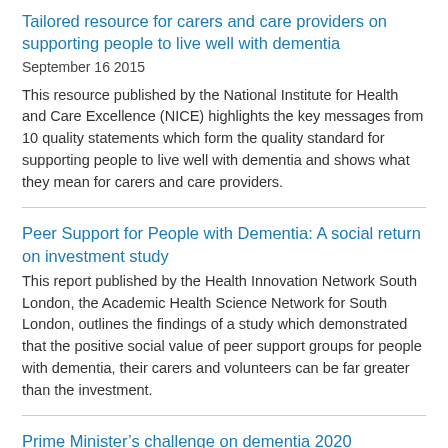Tailored resource for carers and care providers on supporting people to live well with dementia
September 16 2015
This resource published by the National Institute for Health and Care Excellence (NICE) highlights the key messages from 10 quality statements which form the quality standard for supporting people to live well with dementia and shows what they mean for carers and care providers.
Peer Support for People with Dementia: A social return on investment study
This report published by the Health Innovation Network South London, the Academic Health Science Network for South London, outlines the findings of a study which demonstrated that the positive social value of peer support groups for people with dementia, their carers and volunteers can be far greater than the investment.
Prime Minister’s challenge on dementia 2020
February 21 2015